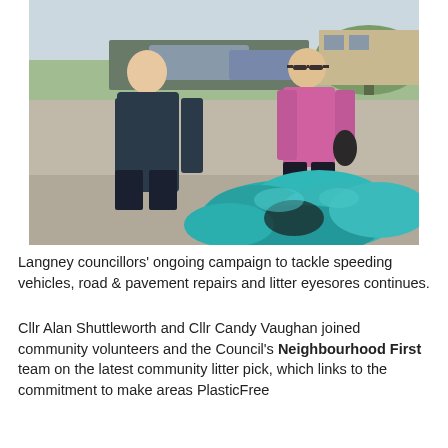[Figure (photo): Two people standing outdoors on a street: a man on the left in a dark fleece jacket and a woman on the right in a pink top wearing sunglasses. In front of them is a large pile of teal/green bin bags filled with litter. Cars and buildings are visible in the background. This appears to be a community litter pick event.]
Langney councillors' ongoing campaign to tackle speeding vehicles, road & pavement repairs and litter eyesores continues.
Cllr Alan Shuttleworth and Cllr Candy Vaughan joined community volunteers and the Council's Neighbourhood First team on the latest community litter pick, which links to the commitment to make areas PlasticFree...